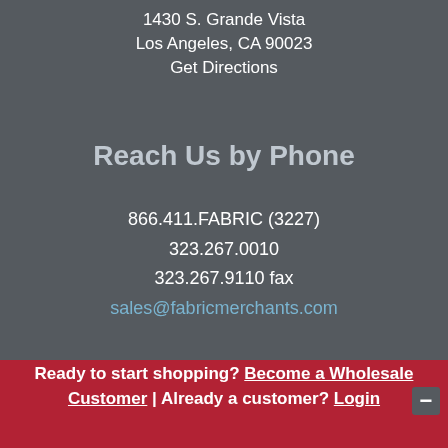1430 S. Grande Vista
Los Angeles, CA 90023
Get Directions
Reach Us by Phone
866.411.FABRIC (3227)
323.267.0010
323.267.9110 fax
sales@fabricmerchants.com
Ready to start shopping? Become a Wholesale Customer | Already a customer? Login